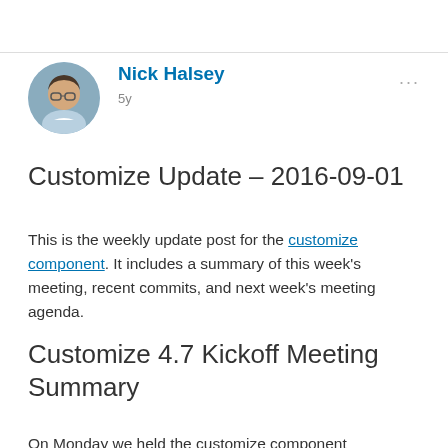[Figure (photo): Circular profile photo of Nick Halsey, a man with glasses and light blue shirt]
Nick Halsey
5y
...
Customize Update – 2016-09-01
This is the weekly update post for the customize component. It includes a summary of this week's meeting, recent commits, and next week's meeting agenda.
Customize 4.7 Kickoff Meeting Summary
On Monday we held the customize component